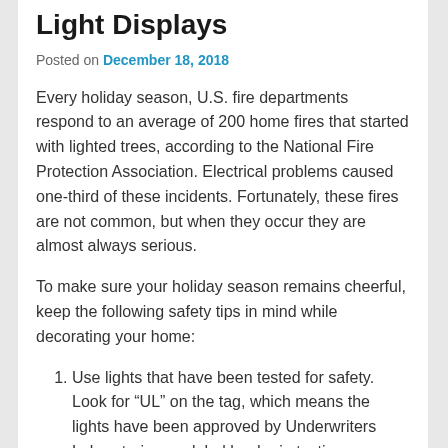Light Displays
Posted on December 18, 2018
Every holiday season, U.S. fire departments respond to an average of 200 home fires that started with lighted trees, according to the National Fire Protection Association. Electrical problems caused one-third of these incidents. Fortunately, these fires are not common, but when they occur they are almost always serious.
To make sure your holiday season remains cheerful, keep the following safety tips in mind while decorating your home:
Use lights that have been tested for safety. Look for “UL” on the tag, which means the lights have been approved by Underwriters Laboratories, a global leader in testing, inspection and certification.
Inspect lights for broken or cracked sockets, frayed wires or loose connections. If you encounter any of the problems, discard them.